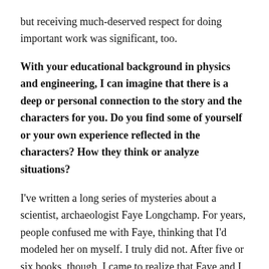but receiving much-deserved respect for doing important work was significant, too.
With your educational background in physics and engineering, I can imagine that there is a deep or personal connection to the story and the characters for you. Do you find some of yourself or your own experience reflected in the characters? How they think or analyze situations?
I've written a long series of mysteries about a scientist, archaeologist Faye Longchamp. For years, people confused me with Faye, thinking that I'd modeled her on myself. I truly did not. After five or six books, though, I came to realize that Faye and I are alike in one way. We